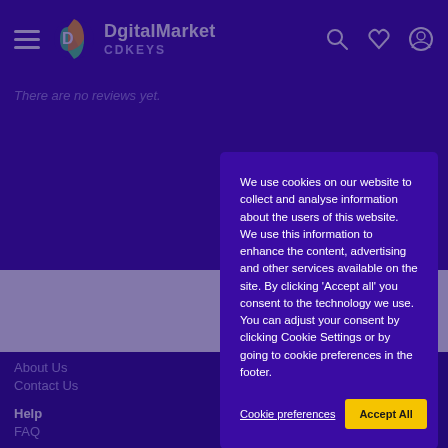DgitalMarket CDKEYS
There are no reviews yet.
We use cookies on our website to collect and analyse information about the users of this website. We use this information to enhance the content, advertising and other services available on the site. By clicking ‘Accept all’ you consent to the technology we use.
You can adjust your consent by clicking Cookie Settings or by going to cookie preferences in the footer.
Cookie preferences
Accept All
About Dgita
About Us
Contact Us
Help
FAQ
Live Chat
Activation G
Follow Us